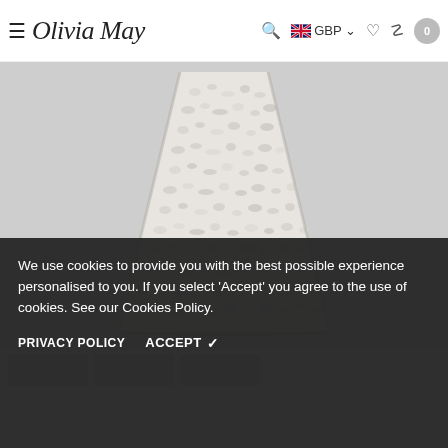≡ Olivia May  🔍 GBP ❤ 👤 0
[Figure (photo): Close-up photo of a white/cream sherpa fleece mini skirt on a light grey background, showing the textured boucle fabric and trapeze/A-line silhouette.]
We use cookies to provide you with the best possible experience personalised to you. If you select 'Accept' you agree to the use of cookies. See our Cookies Policy.
PRIVACY POLICY   ACCEPT ✓